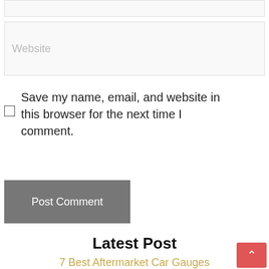[Figure (screenshot): A truncated top input bar (partial, cut off at top of page)]
[Figure (screenshot): Website input field with placeholder text 'Website']
Save my name, email, and website in this browser for the next time I comment.
[Figure (screenshot): Post Comment button in dark gray]
Latest Post
7 Best Aftermarket Car Gauges